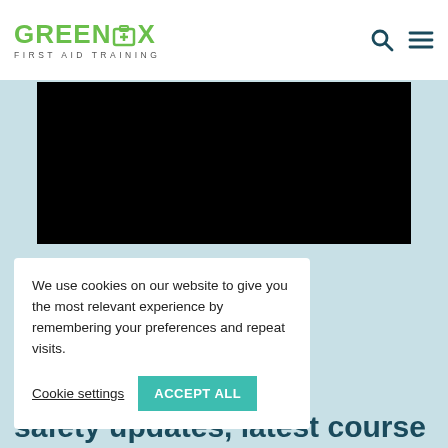GREENBOX FIRST AID TRAINING
[Figure (screenshot): Black video player block]
We use cookies on our website to give you the most relevant experience by remembering your preferences and repeat visits.
Cookie settings | ACCEPT ALL
health and safety updates, latest course